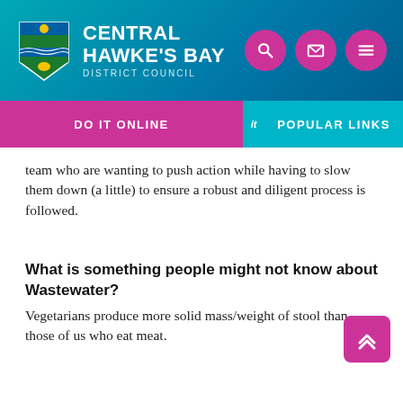[Figure (logo): Central Hawke's Bay District Council logo with shield emblem and text]
DO IT ONLINE | POPULAR LINKS
team who are wanting to push action while having to slow them down (a little) to ensure a robust and diligent process is followed.
What is something people might not know about Wastewater?
Vegetarians produce more solid mass/weight of stool than those of us who eat meat.
What is one thing you wish everyone knew about